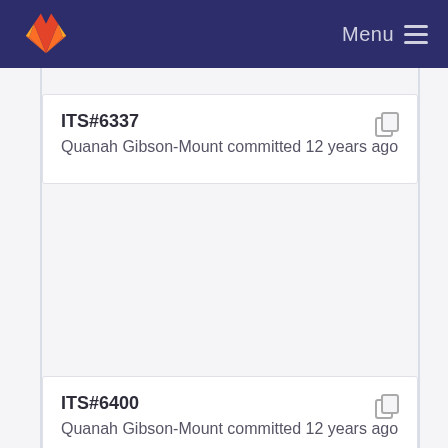Menu
ITS#6337
Quanah Gibson-Mount committed 12 years ago
ITS#6400
Quanah Gibson-Mount committed 12 years ago